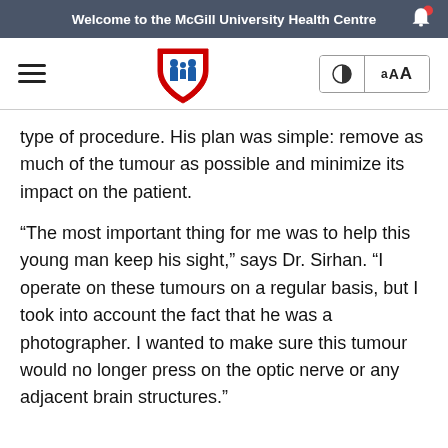Welcome to the McGill University Health Centre
[Figure (logo): McGill University Health Centre shield logo with red border and blue figures of a family]
type of procedure. His plan was simple: remove as much of the tumour as possible and minimize its impact on the patient.
“The most important thing for me was to help this young man keep his sight,” says Dr. Sirhan. “I operate on these tumours on a regular basis, but I took into account the fact that he was a photographer. I wanted to make sure this tumour would no longer press on the optic nerve or any adjacent brain structures.”